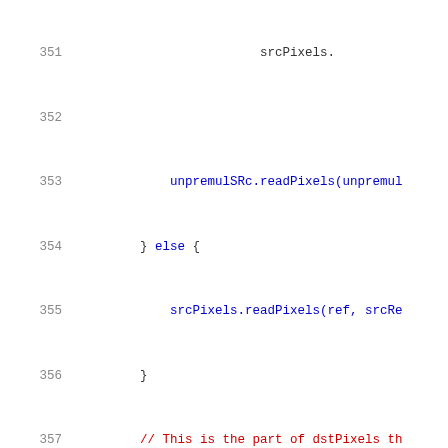[Figure (screenshot): Source code listing with line numbers 351–371 showing C++ code with syntax highlighting. Blue for keywords and function calls, purple for class names, red for comments, black for default code text.]